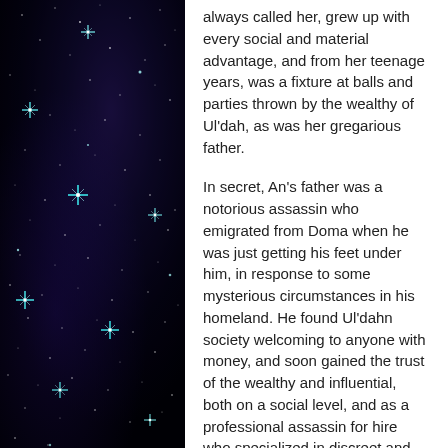[Figure (photo): A dark starry night sky image with deep purple and navy hues and bright teal/cyan star highlights scattered across the frame.]
always called her, grew up with every social and material advantage, and from her teenage years, was a fixture at balls and parties thrown by the wealthy of Ul'dah, as was her gregarious father.

In secret, An's father was a notorious assassin who emigrated from Doma when he was just getting his feet under him, in response to some mysterious circumstances in his homeland. He found Ul'dahn society welcoming to anyone with money, and soon gained the trust of the wealthy and influential, both on a social level, and as a professional assassin for hire who specialized in discreet and natural-looking killings. For reasons unknown, An's father was contracted to kill her parents. He had not known at the time they had a toddler